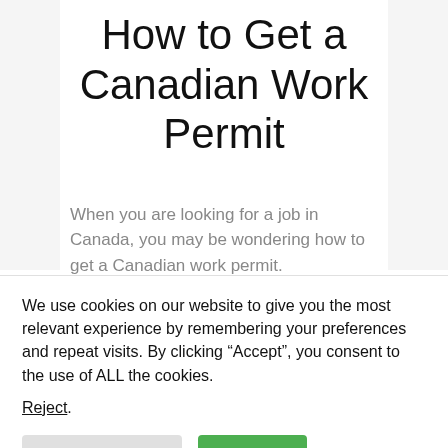How to Get a Canadian Work Permit
When you are looking for a job in Canada, you may be wondering how to get a Canadian work permit.
We use cookies on our website to give you the most relevant experience by remembering your preferences and repeat visits. By clicking “Accept”, you consent to the use of ALL the cookies.
Reject.
Cookie Settings    Accept